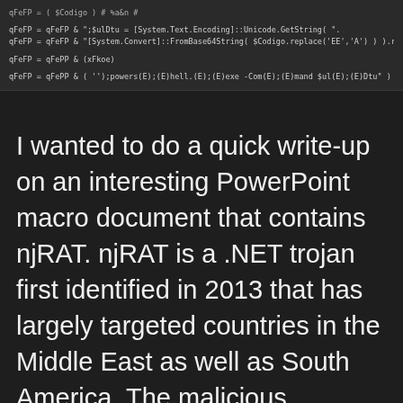[Figure (screenshot): Dark-themed code editor screenshot showing PowerShell/VBA macro obfuscated code lines with qFeFP variable assignments including Unicode encoding, Base64 decoding, and string replacements]
I wanted to do a quick write-up on an interesting PowerPoint macro document that contains njRAT. njRAT is a .NET trojan first identified in 2013 that has largely targeted countries in the Middle East as well as South America. The malicious document can be found via MalwareBazaar: https://bazaar.abuse.ch/sample/edba3ca498 Information Gathering When triaging a suspected malicious [...]